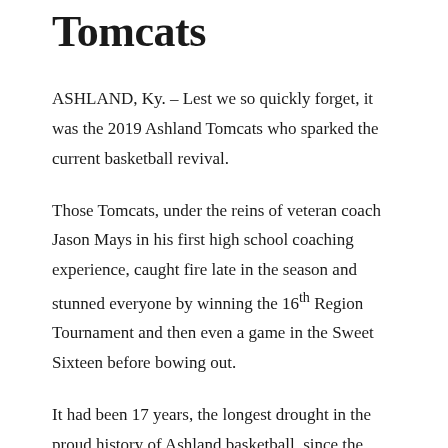Tomcats
ASHLAND, Ky. – Lest we so quickly forget, it was the 2019 Ashland Tomcats who sparked the current basketball revival.
Those Tomcats, under the reins of veteran coach Jason Mays in his first high school coaching experience, caught fire late in the season and stunned everyone by winning the 16th Region Tournament and then even a game in the Sweet Sixteen before bowing out.
It had been 17 years, the longest drought in the proud history of Ashland basketball, since the Tomcats had last won the regional title. They finished with a pedestrian 19-16 record but it may have flipped the